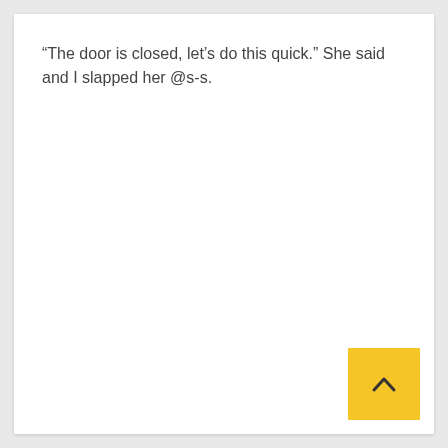“The door is closed, let’s do this quick.” She said and I slapped her @s-s.